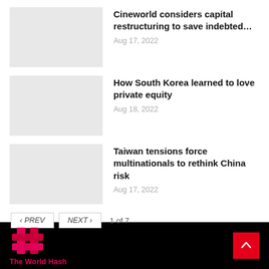Cineworld considers capital restructuring to save indebted…
Aug 17, 2022
How South Korea learned to love private equity
Aug 18, 2022
Taiwan tensions force multinationals to rethink China risk
Aug 17, 2022
‹ PREV   NEXT ›   1 of 7
[Figure (logo): The World Hash logo — a red and pink hash/hashtag symbol with the text 'The World Hash' below in red on a black background]